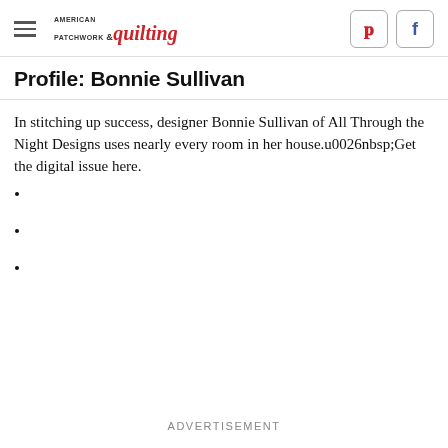American Patchwork & quilting
Profile: Bonnie Sullivan
In stitching up success, designer Bonnie Sullivan of All Through the Night Designs uses nearly every room in her house.u0026nbsp;Get the digital issue here.
ADVERTISEMENT